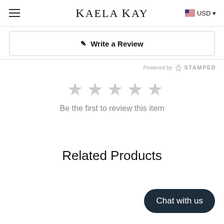KAELA KAY   USD
✎  Write a Review
Powered by ✦ STAMPED
[Figure (other): Five empty grey star rating icons]
Be the first to review this item
Related Products
Chat with us